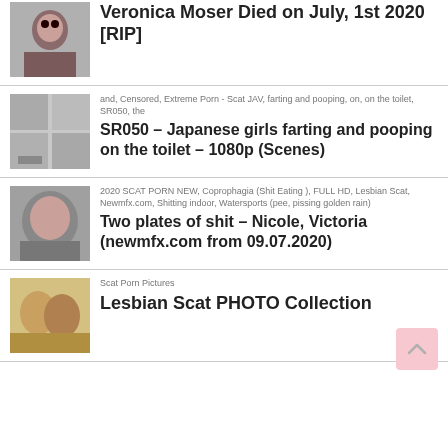Veronica Moser Died on July, 1st 2020 [RIP]
SR050 – Japanese girls farting and pooping on the toilet – 1080p (Scenes)
Two plates of shit – Nicole, Victoria (newmfx.com from 09.07.2020)
Lesbian Scat PHOTO Collection